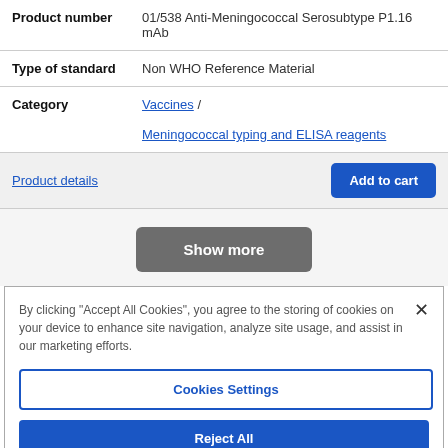| Field | Value |
| --- | --- |
| Product number | 01/538 Anti-Meningococcal Serosubtype P1.16 mAb |
| Type of standard | Non WHO Reference Material |
| Category | Vaccines / Meningococcal typing and ELISA reagents |
Product details | Add to cart
Show more
By clicking "Accept All Cookies", you agree to the storing of cookies on your device to enhance site navigation, analyze site usage, and assist in our marketing efforts.
Cookies Settings
Reject All